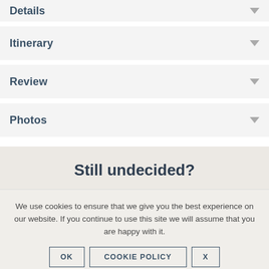Details
Itinerary
Review
Photos
Still undecided?
We use cookies to ensure that we give you the best experience on our website. If you continue to use this site we will assume that you are happy with it.
OK   COOKIE POLICY   X